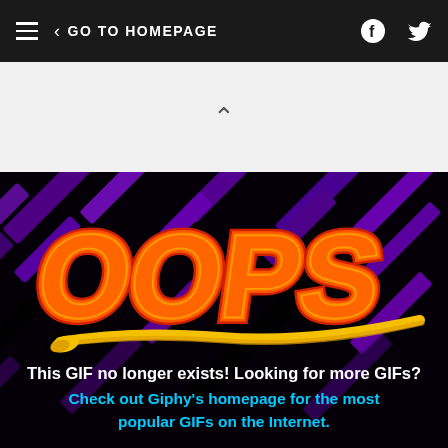≡  ‹ GO TO HOMEPAGE
[Figure (screenshot): White area with upward caret/chevron symbol in center]
[Figure (illustration): Dark background with purple diagonal rectangles, large 'OOPS' text in orange/red flame style with yellow underline streak. Below: white text 'This GIF no longer exists! Looking for more GIFs?' and cyan text 'Check out Giphy's homepage for the most popular GIFs on the Internet.']